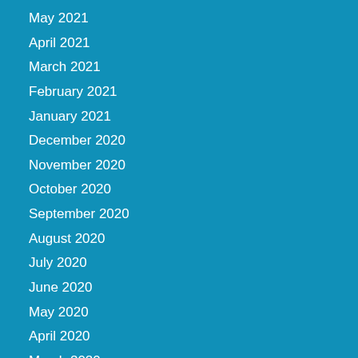May 2021
April 2021
March 2021
February 2021
January 2021
December 2020
November 2020
October 2020
September 2020
August 2020
July 2020
June 2020
May 2020
April 2020
March 2020
February 2020
January 2020